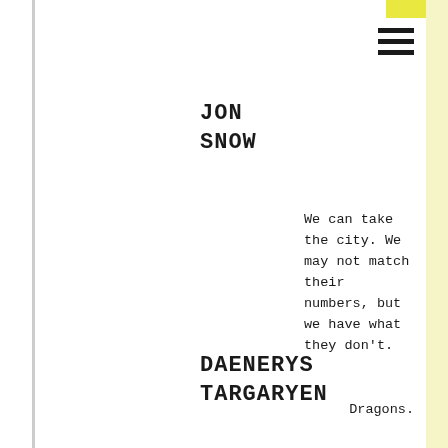JON SNOW
We can take the city. We may not match their numbers, but we have what they don't.
DAENERYS TARGARYEN
Dragons.